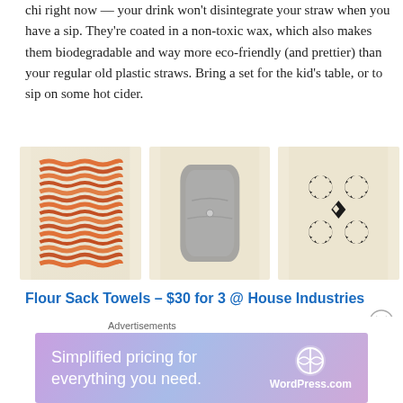chi right now — your drink won't disintegrate your straw when you have a sip. They're coated in a non-toxic wax, which also makes them biodegradable and way more eco-friendly (and prettier) than your regular old plastic straws. Bring a set for the kid's table, or to sip on some hot cider.
[Figure (photo): Three flour sack towels laid flat: one with orange/red wavy stripe pattern, one with a grey abstract shape on cream background, one with black snowflake/geometric pattern on cream background.]
Flour Sack Towels – $30 for 3 @ House Industries
I really feel like you can never have enough tea towels,
Advertisements
Simplified pricing for everything you need. WordPress.com